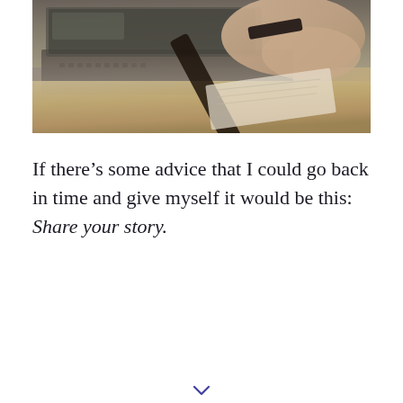[Figure (photo): A close-up photo of hands near a laptop keyboard with a book or notebook and what appears to be a pen or pencil, shot from above on a wooden desk surface.]
If there's some advice that I could go back in time and give myself it would be this: Share your story.